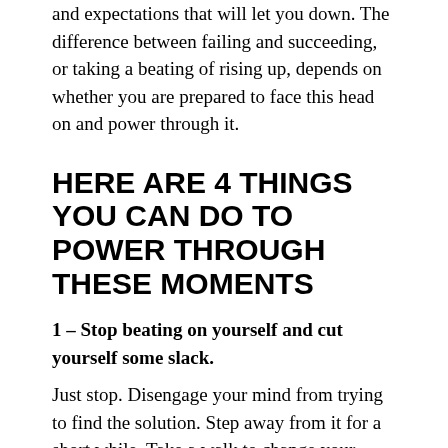and expectations that will let you down. The difference between failing and succeeding, or taking a beating of rising up, depends on whether you are prepared to face this head on and power through it.
HERE ARE 4 THINGS YOU CAN DO TO POWER THROUGH THESE MOMENTS
1 – Stop beating on yourself and cut yourself some slack.
Just stop. Disengage your mind from trying to find the solution. Step away from it for a short while. Take a walk to change your environment and get your mind out of the rut you are trying to get out